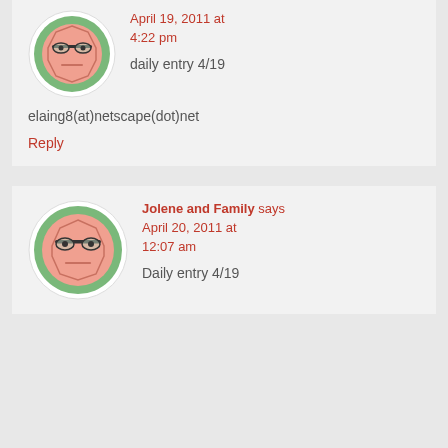[Figure (illustration): Avatar: cartoon face with glasses on green circle background]
April 19, 2011 at 4:22 pm
daily entry 4/19
elaing8(at)netscape(dot)net
Reply
[Figure (illustration): Avatar: cartoon face with glasses on green circle background]
Jolene and Family says April 20, 2011 at 12:07 am
Daily entry 4/19